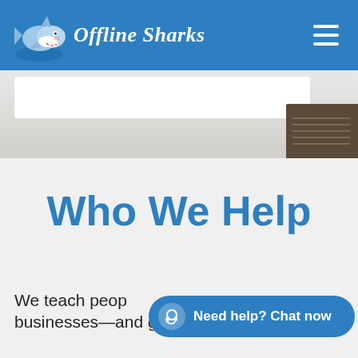[Figure (logo): Offline Sharks website header with blue background, shark cartoon logo on the left with italic white text 'Offline Sharks', and a hamburger menu icon on the right]
[Figure (photo): Partial hero image showing a white horizontal bar and a dark brown object (appears to be a book or device) in the bottom right, on a light gray background]
Who We Help
We teach people how to help businesses—and get paid for it! Many of our
[Figure (screenshot): Chat support button overlay reading 'Need help? Chat now' with a headset icon, blue rounded pill shape]